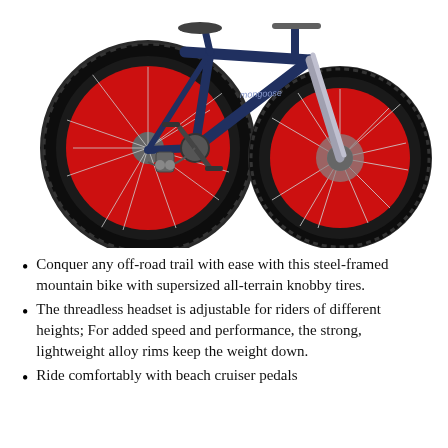[Figure (photo): A fat-tire mountain bike with a navy blue steel frame, large knobby black tires with bright red alloy rims, visible rear derailleur gears, disc brake on front wheel, and chrome/silver fork. The brand name 'mongoose' appears on the frame.]
Conquer any off-road trail with ease with this steel-framed mountain bike with supersized all-terrain knobby tires.
The threadless headset is adjustable for riders of different heights; For added speed and performance, the strong, lightweight alloy rims keep the weight down.
Ride comfortably with beach cruiser pedals